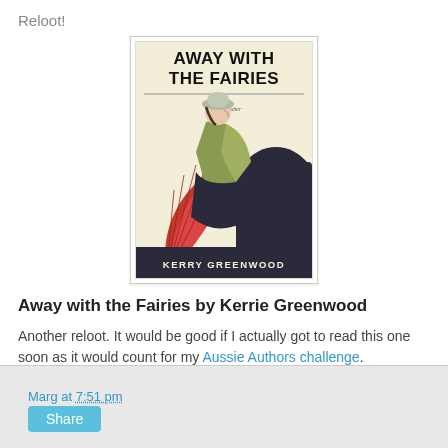Reloot!
[Figure (illustration): Book cover of 'Away with the Fairies' by Kerry Greenwood, showing a 1920s woman in a green dress and cloche hat sitting in front of a large red fan, with dark background. Subtitle: A Phryne Fisher Mystery.]
Away with the Fairies by Kerrie Greenwood
Another reloot. It would be good if I actually got to read this one soon as it would count for my Aussie Authors challenge.
Marg at 7:51 pm
Share